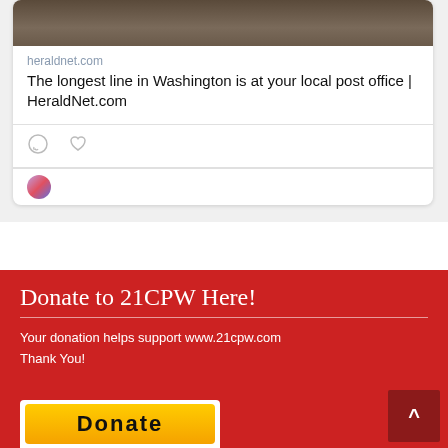[Figure (screenshot): Social media card showing link preview with dark photo at top, heraldnet.com domain label, article title 'The longest line in Washington is at your local post office | HeraldNet.com', comment and like icons, and a partially visible profile avatar at the bottom.]
Donate to 21CPW Here!
Your donation helps support www.21cpw.com
Thank You!
[Figure (screenshot): PayPal Donate button (yellow gradient) partially visible at the bottom of the red section.]